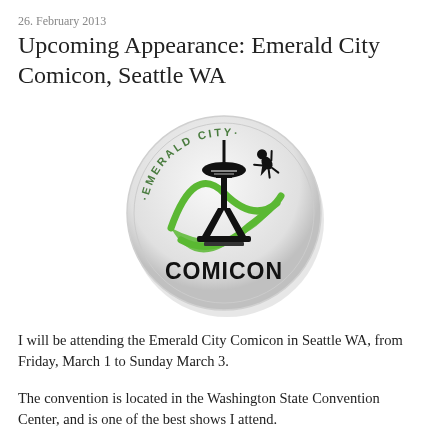26. February 2013
Upcoming Appearance: Emerald City Comicon, Seattle WA
[Figure (logo): Emerald City Comicon circular button/badge logo featuring the Seattle Space Needle silhouette in black, a green swoosh/orbit design, text 'EMERALD CITY' arched at top in green, and 'COMICON' in large black text at bottom, with a small black superhero figure flying at upper right.]
I will be attending the Emerald City Comicon in Seattle WA, from Friday, March 1 to Sunday March 3.
The convention is located in the Washington State Convention Center, and is one of the best shows I attend.